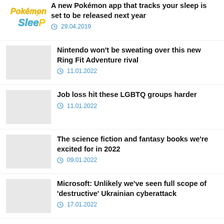A new Pokémon app that tracks your sleep is set to be released next year — 29.04.2019
Nintendo won't be sweating over this new Ring Fit Adventure rival — 11.01.2022
Job loss hit these LGBTQ groups harder — 11.01.2022
The science fiction and fantasy books we're excited for in 2022 — 09.01.2022
Microsoft: Unlikely we've seen full scope of 'destructive' Ukrainian cyberattack — 17.01.2022